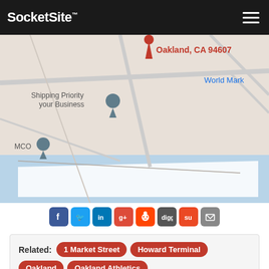SocketSite™
[Figure (map): Google Maps view showing Oakland, CA 94607 area with Howard Terminal/port area, roads, water, and location pins. Text visible: 'Oakland, CA 94607', 'World Mark', 'Shipping Priority your Business', 'MCO']
[Figure (infographic): Row of social sharing icons: Facebook, Twitter, LinkedIn, Google+, Reddit, Digg, StumbleUpon, Email]
Related: 1 Market Street | Howard Terminal | Oakland | Oakland Athletics